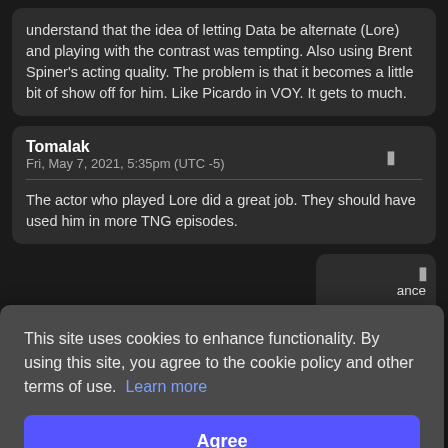understand that the idea of letting Data be alternate (Lore) and playing with the contrast was tempting. Also using Brent Spiner's acting quality. The problem is that it becomes a little bit of show off for him. Like Picardo in VOY. It gets to much.
Tomalak
Fri, May 7, 2021, 5:35pm (UTC -5)
The actor who played Lore did a great job. They should have used him in more TNG episodes.
This site uses cookies to enhance functionality. By using this site, you agree to the cookie policy and other terms of use. Learn more
Agree
Crobert